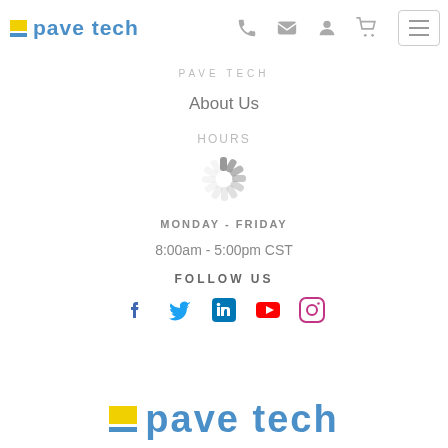pave tech
PAVE TECH
About Us
Hours
MONDAY - FRIDAY
8:00am - 5:00pm CST
FOLLOW US
[Figure (other): Social media icons: Facebook, Twitter, LinkedIn, YouTube, Instagram]
[Figure (logo): Pave Tech logo at bottom of page with yellow square and blue text]